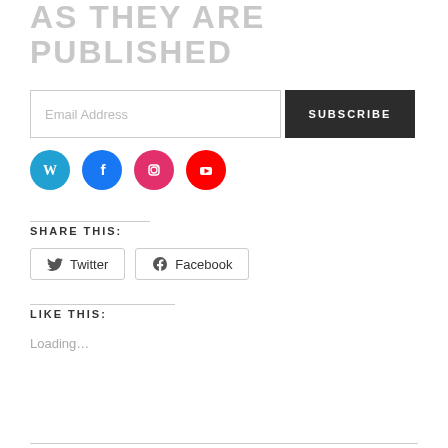AS THEY ARE PUBLISHED
Email Address
SUBSCRIBE
[Figure (illustration): Social media icons: WordPress (blue), Facebook (blue), Instagram (pink), YouTube (red), all circular]
SHARE THIS:
Twitter
Facebook
LIKE THIS:
Loading...